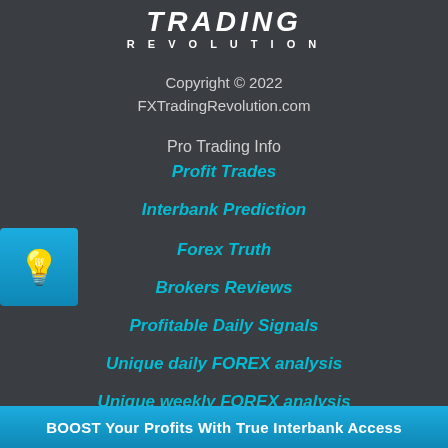TRADING REVOLUTION
Copyright © 2022
FXTradingRevolution.com
Pro Trading Info
Profit Trades
Interbank Prediction
Forex Truth
Brokers Reviews
Profitable Daily Signals
Unique daily FOREX analysis
Unique weekly FOREX analysis
BOOST Your Profits With True Interbank Access